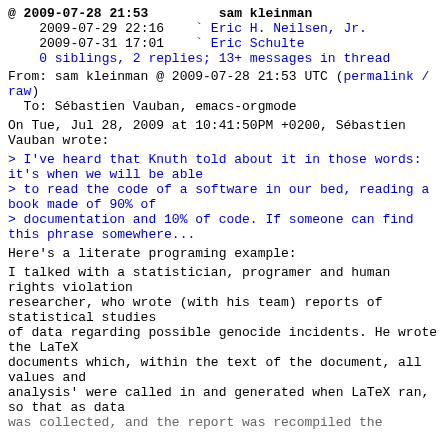@ 2009-07-28 21:53   sam kleinman
  2009-07-29 22:16  ` Eric H. Neilsen, Jr.
  2009-07-31 17:01  ` Eric Schulte
  0 siblings, 2 replies; 13+ messages in thread
From: sam kleinman @ 2009-07-28 21:53 UTC (permalink / raw)
  To: Sébastien Vauban, emacs-orgmode
On Tue, Jul 28, 2009 at 10:41:50PM +0200, Sébastien Vauban wrote:
> I've heard that Knuth told about it in those words: it's when we will be able
> to read the code of a software in our bed, reading a book made of 90% of
> documentation and 10% of code. If someone can find this phrase somewhere...
Here's a literate programing example:
I talked with a statistician, programer and human rights violation
researcher, who wrote (with his team) reports of statistical studies
of data regarding possible genocide incidents. He wrote the LaTeX
documents which, within the text of the document, all values and
analysis' were called in and generated when LaTeX ran, so that as data
was collected, and the report was recompiled the...